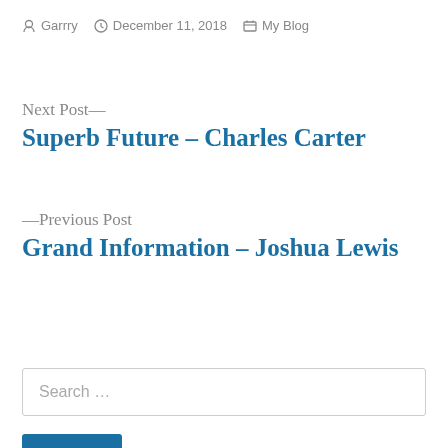Garrry  December 11, 2018  My Blog
Next Post—
Superb Future – Charles Carter
—Previous Post
Grand Information – Joshua Lewis
Search …